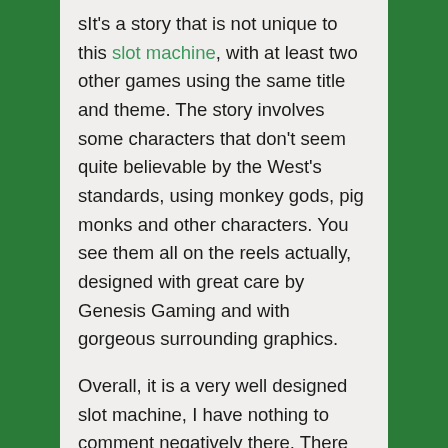sIt's a story that is not unique to this slot machine, with at least two other games using the same title and theme. The story involves some characters that don't seem quite believable by the West's standards, using monkey gods, pig monks and other characters. You see them all on the reels actually, designed with great care by Genesis Gaming and with gorgeous surrounding graphics.
Overall, it is a very well designed slot machine, I have nothing to comment negatively there. There are no poker icons inside, nothing that looks like it doesn't belong, and so I think that the developer did its job in this part of the game.
DEVELOPER
The company, Genesis Gaming, has been formed in 2008, meaning that they had plenty of time to work on